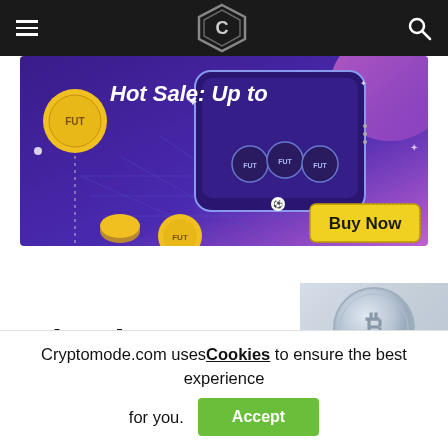Cryptomode website header with hamburger menu, logo, and search icon
[Figure (illustration): Hot Sale promotional banner with purple background, FUT coins, mobile device graphic, 'Hot Sale: Up to...' text, 'Buy Now' yellow button]
[Figure (logo): icoda. logo in bold black text with green dot, alongside a silver bitcoin coin image on the right]
Cryptomode.com uses Cookies to ensure the best experience for you.
Accept